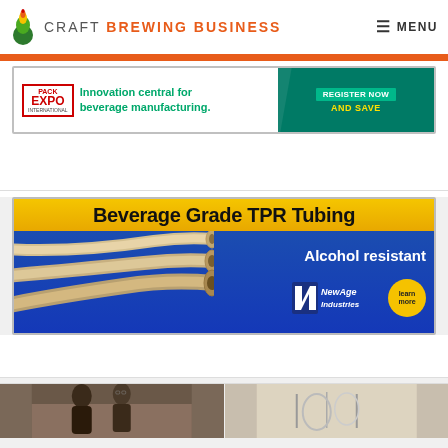CRAFT BREWING BUSINESS
[Figure (other): Pack Expo International advertisement: Innovation central for beverage manufacturing. Register Now and Save.]
[Figure (other): NewAge Industries advertisement: Beverage Grade TPR Tubing - Alcohol resistant. Learn more.]
[Figure (photo): Two brewery-related thumbnail images at bottom of page.]